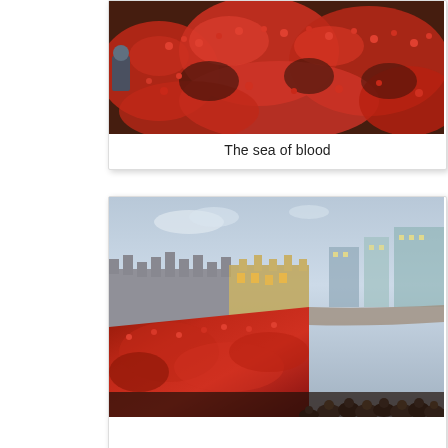[Figure (photo): Aerial view of a dense sea of red ceramic poppies installed at the Tower of London, viewed from above showing the mass of red flowers covering the ground]
The sea of blood
[Figure (photo): Wide angle view of the Tower of London at dusk with red ceramic poppies filling the moat, castle walls visible in background, crowds of visitors visible at bottom right watching the installation]